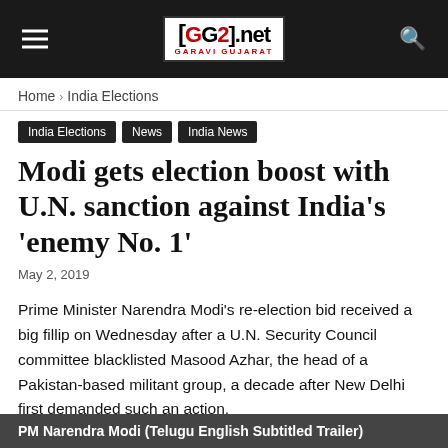GG2.net GARAVI GUJARAT
Home › India Elections
India Elections
News
India News
Modi gets election boost with U.N. sanction against India's 'enemy No. 1'
May 2, 2019
Prime Minister Narendra Modi's re-election bid received a big fillip on Wednesday after a U.N. Security Council committee blacklisted Masood Azhar, the head of a Pakistan-based militant group, a decade after New Delhi first demanded such an action.
PM Narendra Modi (Telugu English Subtitled Trailer)